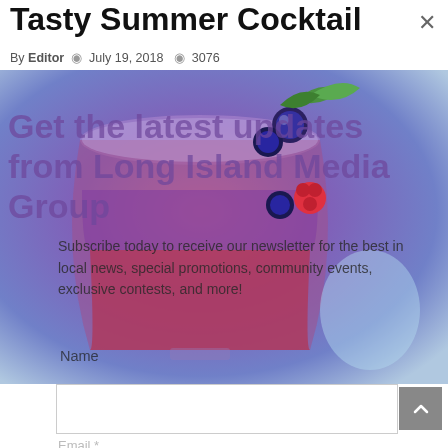Tasty Summer Cocktail
By Editor  © July 19, 2018  ® 3076
[Figure (photo): A cocktail glass filled with a red/purple berry drink, garnished with blueberries, raspberries, and mint leaves, with purple-blue tinted lighting]
Get the latest updates from Long Island Media Group
Subscribe today to receive our newsletter for the best in local news, special promotions, community events, exclusive contests, and more!
Name
Email *
Perhaps nothing is more relaxing on a warm summer night than sipping a cocktail as the sun sets. Some